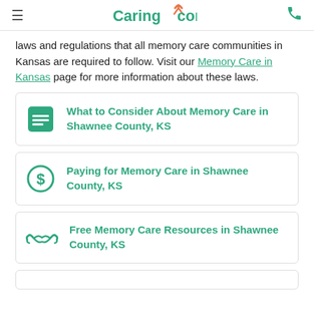Caring.com
laws and regulations that all memory care communities in Kansas are required to follow. Visit our Memory Care in Kansas page for more information about these laws.
What to Consider About Memory Care in Shawnee County, KS
Paying for Memory Care in Shawnee County, KS
Free Memory Care Resources in Shawnee County, KS